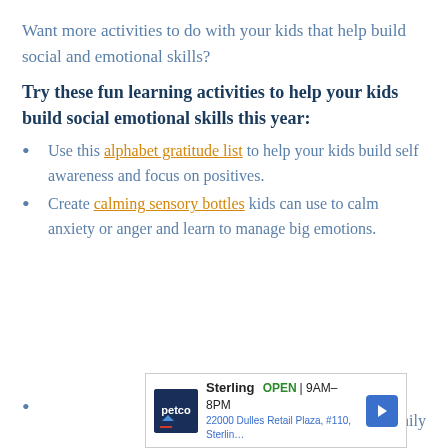Want more activities to do with your kids that help build social and emotional skills?
Try these fun learning activities to help your kids build social emotional skills this year:
Use this alphabet gratitude list to help your kids build self awareness and focus on positives.
Create calming sensory bottles kids can use to calm anxiety or anger and learn to manage big emotions.
(partial) ...nily